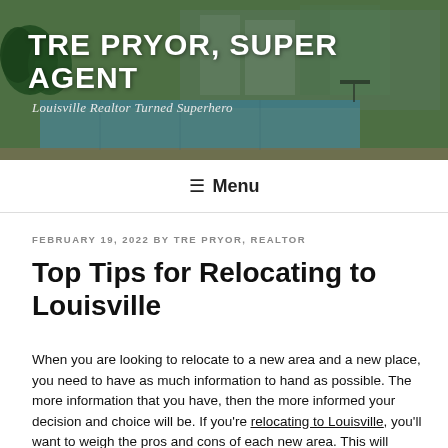TRE PRYOR, SUPER AGENT
Louisville Realtor Turned Superhero
≡ Menu
FEBRUARY 19, 2022 BY TRE PRYOR, REALTOR
Top Tips for Relocating to Louisville
When you are looking to relocate to a new area and a new place, you need to have as much information to hand as possible. The more information that you have, then the more informed your decision and choice will be. If you're relocating to Louisville, you'll want to weigh the pros and cons of each new area. This will ensure that you settle in the neighborhood that best fits your needs.